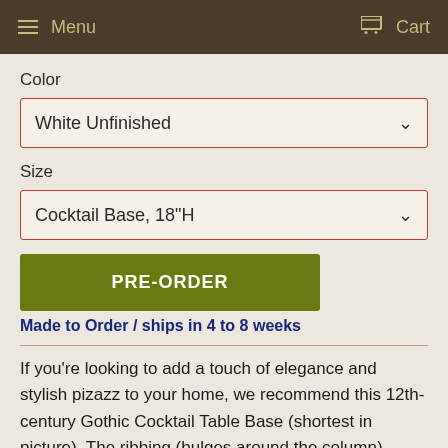Menu   Cart
Color
White Unfinished
Size
Cocktail Base, 18"H
PRE-ORDER
Made to Order / ships in 4 to 8 weeks
If you're looking to add a touch of elegance and stylish pizazz to your home, we recommend this 12th-century Gothic Cocktail Table Base (shortest in picture). The ribbing (bulges around the column) make up a "clustered column" which was...